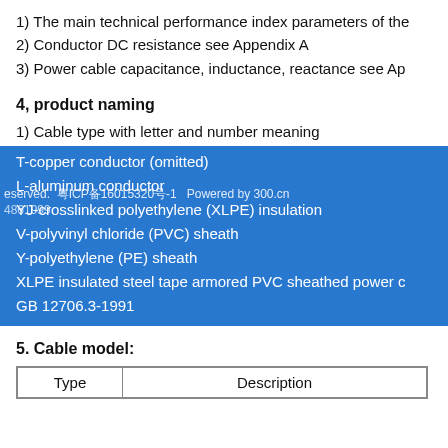1) The main technical performance index parameters of the
2) Conductor DC resistance see Appendix A
3) Power cable capacitance, inductance, reactance see Ap
4, product naming
1) Cable type with letter and number meaning
T-copper conductor (omitted)
L-aluminum conductor
YJ-crosslinked polyethylene (XLPE) insulation
V-polyvinyl chloride (PVC) sheath
Y-polyethylene (PE) sheath
XLPE insulated steel tape armored PVC sheathed power c
GB 12706.3-1991
5. Cable model:
| Type | Description |
| --- | --- |